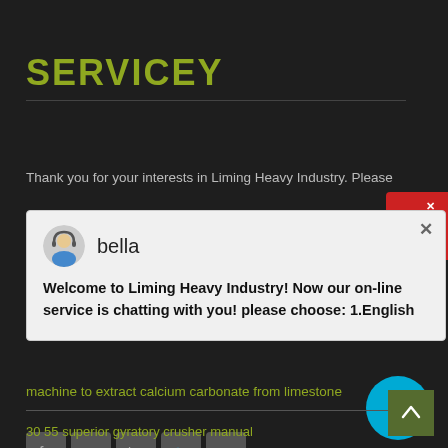SERVICEY
Thank you for your interests in Liming Heavy Industry. Please
[Figure (screenshot): Chat popup window with avatar of 'bella' and message: Welcome to Liming Heavy Industry! Now our on-line service is chatting with you! please choose: 1.English]
PRODUCTS
machine to extract calcium carbonate from limestone
30 55 superior gyratory crusher manual